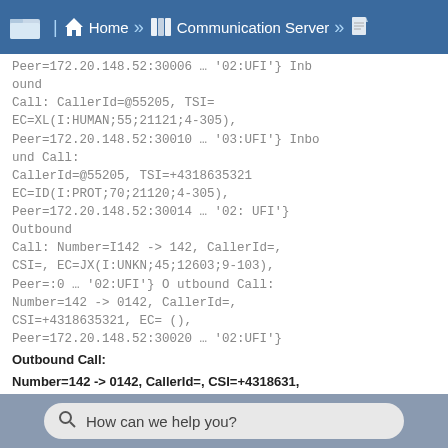Home » Communication Server »
Peer=172.20.148.52:30006 … '02:UFI'} Inbound Call: CallerId=@55205, TSI= EC=XL(I:HUMAN;55;21121;4-305), Peer=172.20.148.52:30010 … '03:UFI'} Inbound Call: CallerId=@55205, TSI=+4318635321 EC=ID(I:PROT;70;21120;4-305), Peer=172.20.148.52:30014 … '02: UFI'} Outbound Call: Number=I142 -> 142, CallerId=, CSI=, EC=JX(I:UNKN;45;12603;9-103), Peer=:0 … '02:UFI'} O utbound Call: Number=142 -> 0142, CallerId=, CSI=+4318635321, EC= (), Peer=172.20.148.52:30020 … '02:UFI'}
Outbound Call:
Number=142 -> 0142, CallerId=, CSI=+4318631,